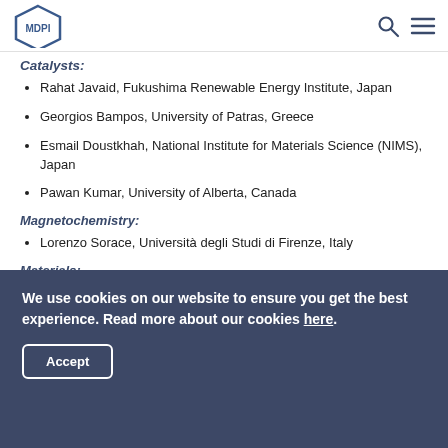MDPI
Catalysts:
Rahat Javaid, Fukushima Renewable Energy Institute, Japan
Georgios Bampos, University of Patras, Greece
Esmail Doustkhah, National Institute for Materials Science (NIMS), Japan
Pawan Kumar, University of Alberta, Canada
Magnetochemistry:
Lorenzo Sorace, Università degli Studi di Firenze, Italy
Materials:
We use cookies on our website to ensure you get the best experience. Read more about our cookies here.